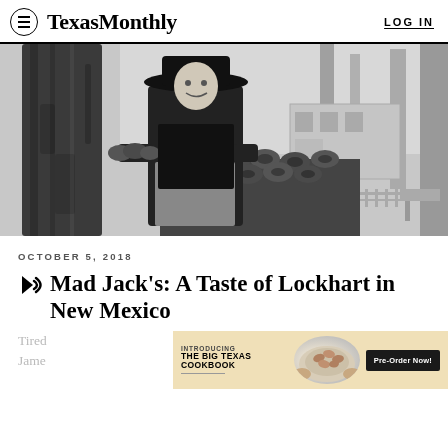Texas Monthly  LOG IN
[Figure (photo): Black and white photo of a man in a cowboy hat and dark shirt holding firewood, standing next to a large tree trunk with a wood pile behind him, trees and a building visible in the background]
OCTOBER 5, 2018
Mad Jack's: A Taste of Lockhart in New Mexico
Tired  James
[Figure (other): Advertisement banner: INTRODUCING THE BIG TEXAS COOKBOOK with a photo of shrimp and a Pre-Order Now! button]